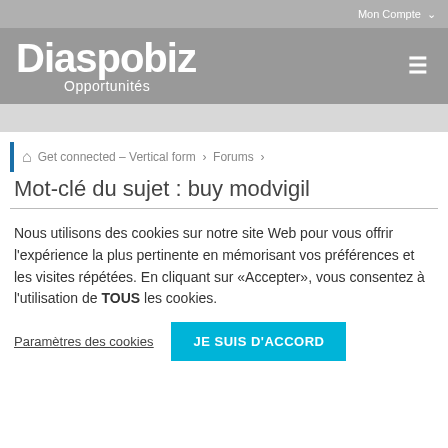Mon Compte
Diaspobiz Opportunités
Get connected – Vertical form › Forums ›
Mot-clé du sujet : buy modvigil
Nous utilisons des cookies sur notre site Web pour vous offrir l'expérience la plus pertinente en mémorisant vos préférences et les visites répétées. En cliquant sur «Accepter», vous consentez à l'utilisation de TOUS les cookies.
Paramètres des cookies   JE SUIS D'ACCORD